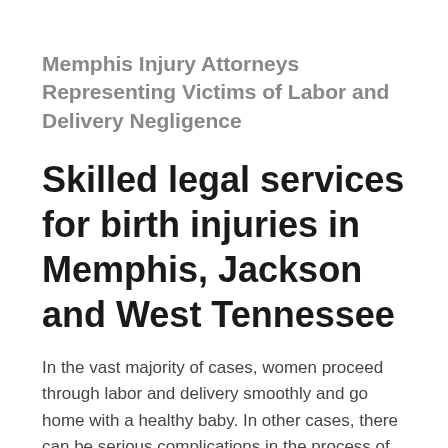Memphis Injury Attorneys Representing Victims of Labor and Delivery Negligence
Skilled legal services for birth injuries in Memphis, Jackson and West Tennessee
In the vast majority of cases, women proceed through labor and delivery smoothly and go home with a healthy baby. In other cases, there can be serious complications in the process of trying to bring a child into the world. Parents expect that their doctors and nurses know what they are doing, that they will follow their training and